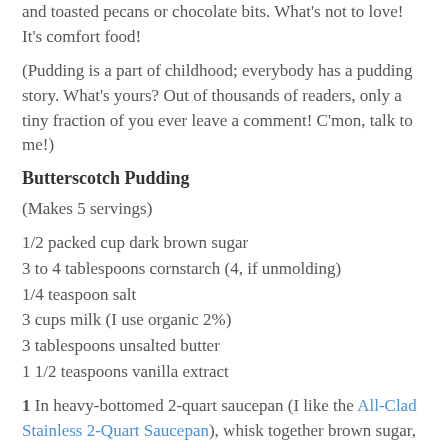and toasted pecans or chocolate bits. What's not to love! It's comfort food!
(Pudding is a part of childhood; everybody has a pudding story. What's yours? Out of thousands of readers, only a tiny fraction of you ever leave a comment! C'mon, talk to me!)
Butterscotch Pudding
(Makes 5 servings)
1/2 packed cup dark brown sugar
3 to 4 tablespoons cornstarch (4, if unmolding)
1/4 teaspoon salt
3 cups milk (I use organic 2%)
3 tablespoons unsalted butter
1 1/2 teaspoons vanilla extract
1 In heavy-bottomed 2-quart saucepan (I like the All-Clad Stainless 2-Quart Saucepan), whisk together brown sugar, cornstarch and salt. Gradually whisk in milk. Bring to a boil over medium heat, stirring constantly; continue cooking for 1 minute. Remove from heat.